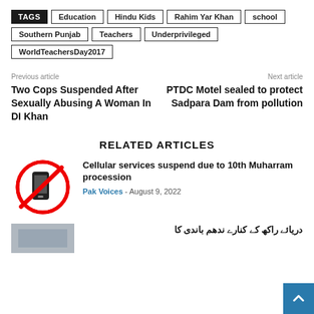TAGS  Education  Hindu Kids  Rahim Yar Khan  school  Southern Punjab  Teachers  Underprivileged  WorldTeachersDay2017
Previous article
Two Cops Suspended After Sexually Abusing A Woman In DI Khan
Next article
PTDC Motel sealed to protect Sadpara Dam from pollution
RELATED ARTICLES
[Figure (illustration): No mobile phone sign: red circle with diagonal slash over a mobile phone icon]
Cellular services suspend due to 10th Muharram procession
Pak Voices - August 9, 2022
[Figure (photo): Partial thumbnail image for next article]
Urdu text (partial, cut off at bottom)